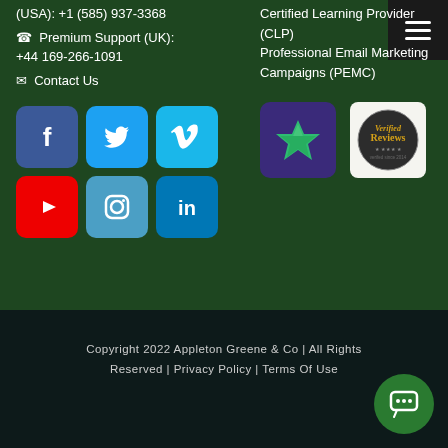(USA): +1 (585) 937-3368
Premium Support (UK): +44 169-266-1091
Contact Us
Certified Learning Provider (CLP)
Professional Email Marketing Campaigns (PEMC)
[Figure (infographic): Social media icons grid: Facebook, Twitter, Vimeo (top row), YouTube, Instagram, LinkedIn (bottom row)]
[Figure (logo): Gem/star badge logo on purple background]
[Figure (logo): Verified Reviews circular badge]
Copyright 2022 Appleton Greene & Co | All Rights Reserved | Privacy Policy | Terms Of Use